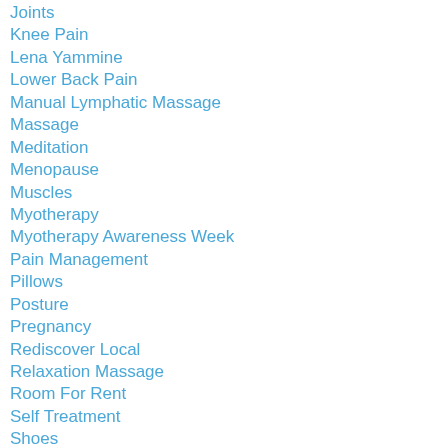Joints
Knee Pain
Lena Yammine
Lower Back Pain
Manual Lymphatic Massage
Massage
Meditation
Menopause
Muscles
Myotherapy
Myotherapy Awareness Week
Pain Management
Pillows
Posture
Pregnancy
Rediscover Local
Relaxation Massage
Room For Rent
Self Treatment
Shoes
Sleeping